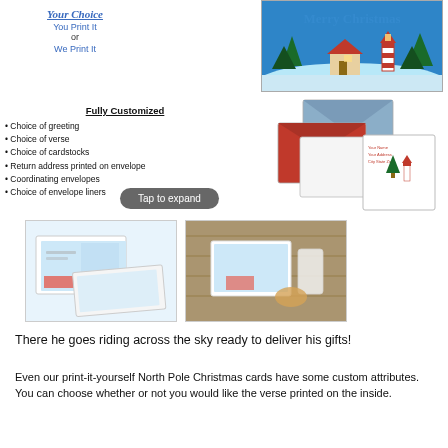[Figure (illustration): Christmas card illustration with 'Merry Christmas' text, snowy scene with house, trees, and lighthouse]
Your Choice
You Print It
or
We Print It
Fully Customized
Choice of greeting
Choice of verse
Choice of cardstocks
Return address printed on envelope
Coordinating envelopes
Choice of envelope liners
[Figure (photo): Envelope and card samples with red and blue envelopes, and a Christmas card with tree design]
Tap to expand
[Figure (photo): Product photos: postcard-style Christmas cards and cards displayed on a wooden surface]
There he goes riding across the sky ready to deliver his gifts!
Even our print-it-yourself North Pole Christmas cards have some custom attributes. You can choose whether or not you would like the verse printed on the inside.